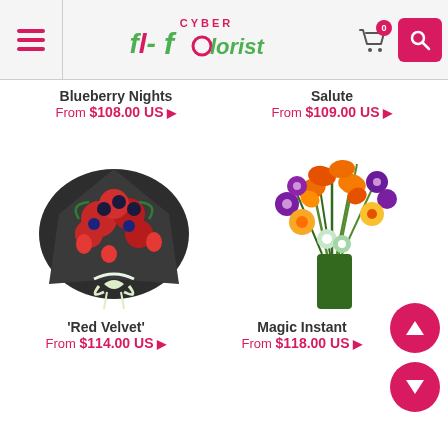[Figure (screenshot): Cyber Florist website header with hamburger menu, logo, cart icon with badge showing 0, and search button]
Blueberry Nights
From $108.00 US ▶
Salute
From $109.00 US ▶
[Figure (photo): Red Velvet flower bouquet with red roses, berries, blueberries wrapped in dark paper with cream ribbon]
[Figure (photo): Magic Instant bouquet with orange lilies, purple flowers, yellow daisies, green stems]
'Red Velvet'
From $114.00 US ▶
Magic Instant
From $118.00 US ▶